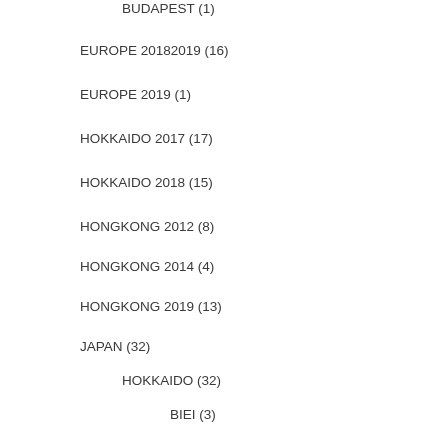BUDAPEST (1)
EUROPE 20182019 (16)
EUROPE 2019 (1)
HOKKAIDO 2017 (17)
HOKKAIDO 2018 (15)
HONGKONG 2012 (8)
HONGKONG 2014 (4)
HONGKONG 2019 (13)
JAPAN (32)
HOKKAIDO (32)
BIEI (3)
FURANO (9)
NOBORIBETSU (1)
SAPPORO (7)
KOREA (218)
GEOJE (6)
GYEONGGI-DO (2)